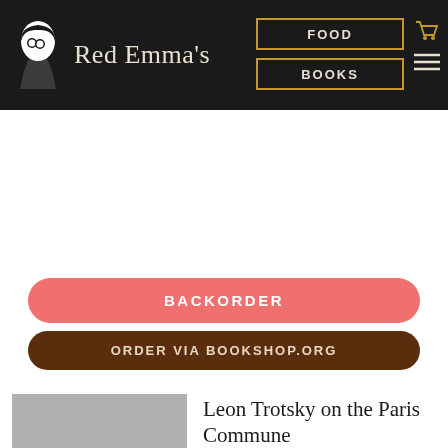Red Emma's | FOOD | BOOKS
BACKORDER
ORDER VIA BOOKSHOP.ORG
[Figure (illustration): Gray placeholder rectangle for book cover]
Leon Trotsky on the Paris Commune